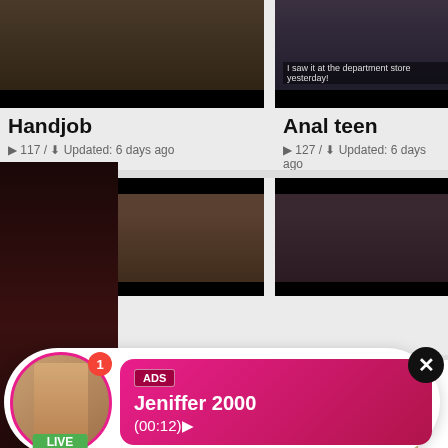[Figure (screenshot): Adult video thumbnail on left, top row]
[Figure (screenshot): Adult video thumbnail on right, top row]
Handjob
117 / Updated: 6 days ago
Anal teen
127 / Updated: 6 days ago
[Figure (screenshot): Adult video thumbnail on left, second row]
[Figure (screenshot): Adult video thumbnail on right, second row]
[Figure (infographic): Notification popup ad: profile photo with LIVE badge, ADS badge, name Jeniffer 2000, time (00:12), close button X]
Dril
10
[Figure (screenshot): Adult video thumbnail bottom left]
[Figure (screenshot): Adult video thumbnail bottom right]
[Figure (infographic): Ad popup: photo of woman, WHAT DO YOU WANT? WATCH button, Online indicator, three thumbnails, text: Cumming, ass fucking, squirt or..., ADS, close X]